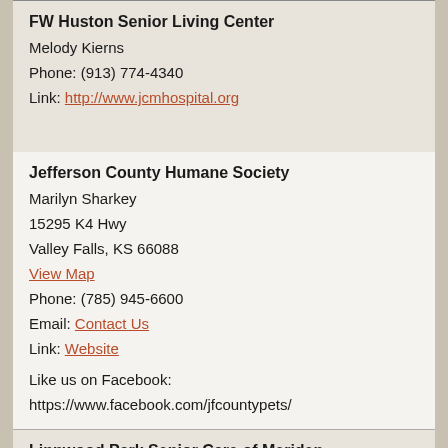FW Huston Senior Living Center
Melody Kierns
Phone: (913) 774-4340
Link: http://www.jcmhospital.org
Jefferson County Humane Society
Marilyn Sharkey
15295 K4 Hwy
Valley Falls, KS 66088
View Map
Phone: (785) 945-6600
Email: Contact Us
Link: Website
Like us on Facebook:
https://www.facebook.com/jfcountypets/
Linnwood Park Senior Care of Meriden
Ken Hartle
6313 K4 Hwy
Meriden, KS 66512
View Map